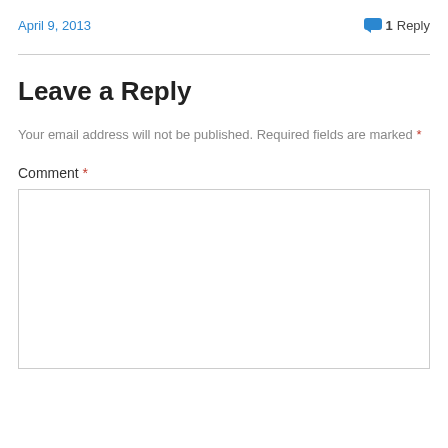April 9, 2013   💬 1 Reply
Leave a Reply
Your email address will not be published. Required fields are marked *
Comment *